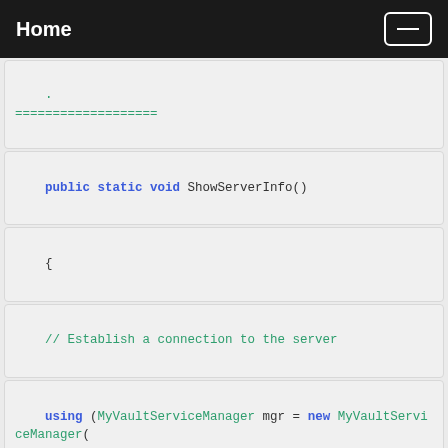Home
===================
public static void ShowServerInfo()
{
// Establish a connection to the server
using (MyVaultServiceManager mgr = new MyVaultServiceManager(
MyVaultServiceManager.Mode.ReadOnly))
{
try
{